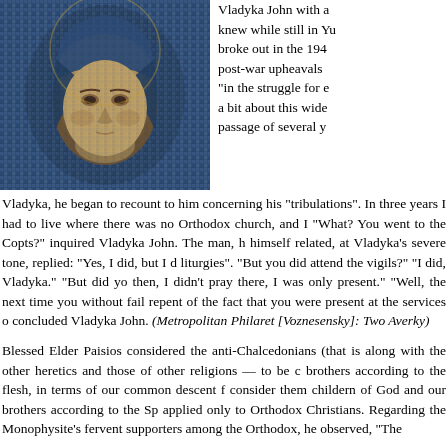[Figure (photo): Close-up of a religious icon depicting a face with gold and blue tones, mosaic-like texture.]
Vladyka John with a knew while still in Yu broke out in the 194 post-war upheavals "in the struggle for e a bit about this wide passage of several y
Vladyka, he began to recount to him concerning his "tribulations". In three years I had to live where there was no Orthodox church, and I "What? You went to the Copts?" inquired Vladyka John. The man, h himself related, at Vladyka's severe tone, replied: "Yes, I did, but I d liturgies". "But you did attend the vigils?" "I did, Vladyka." "But did yo then, I didn't pray there, I was only present." "Well, the next time you without fail repent of the fact that you were present at the services o concluded Vladyka John. (Metropolitan Philaret [Voznesensky]: Two Averky)
Blessed Elder Paisios considered the anti-Chalcedonians (that is along with the other heretics and those of other religions — to be c brothers according to the flesh, in terms of our common descent f consider them childern of God and our brothers according to the Sp applied only to Orthodox Christians. Regarding the Monophysite's fervent supporters among the Orthodox, he observed, "The